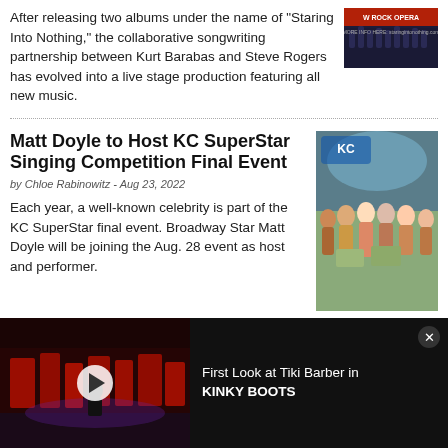After releasing two albums under the name of “Staring Into Nothing,” the collaborative songwriting partnership between Kurt Barabas and Steve Rogers has evolved into a live stage production featuring all new music.
[Figure (photo): Rock Opera promotional banner/advertisement image]
Matt Doyle to Host KC SuperStar Singing Competition Final Event
by Chloe Rabinowitz - Aug 23, 2022
Each year, a well-known celebrity is part of the KC SuperStar final event. Broadway Star Matt Doyle will be joining the Aug. 28 event as host and performer.
[Figure (photo): KC SuperStar singing competition group photo with winners holding large checks]
Video: Watch and Dine at PSF’s
[Figure (photo): Partial view of third article image]
[Figure (screenshot): Advertisement banner: video thumbnail of Kinky Boots stage production with play button, and text 'First Look at Tiki Barber in KINKY BOOTS']